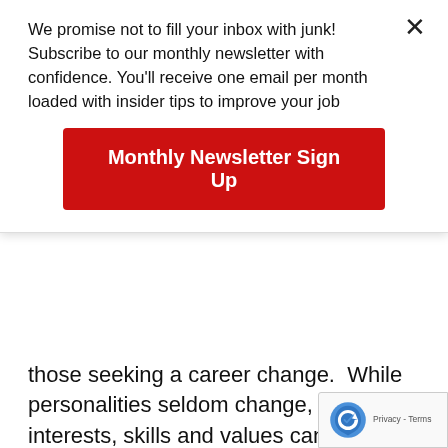We promise not to fill your inbox with junk! Subscribe to our monthly newsletter with confidence. You'll receive one email per month loaded with insider tips to improve your job
[Figure (other): Red button labeled 'Monthly Newsletter Sign Up']
those seeking a career change.  While personalities seldom change, people's interests, skills and values can develop and change as they grow and have real-life experiences.
As a college advisor, I strongly recommend that high school students take a series of career assessments as a sophomore or junior in high school; it is the starting place for all of my students to begin the college exploration and planning process.  Once students are aware of